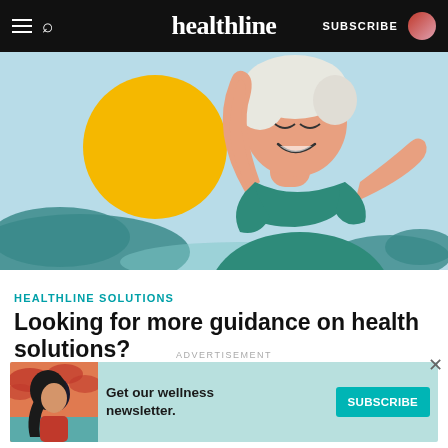healthline  SUBSCRIBE
[Figure (illustration): Illustration of an older person with white hair stretching arms above head, smiling, with a bright yellow sun and teal/blue clouds in the background.]
HEALTHLINE SOLUTIONS
Looking for more guidance on health solutions?
Get connected with products and resources to help
ADVERTISEMENT
[Figure (infographic): Advertisement banner with teal background. Left side shows illustration of a woman with long dark hair against orange/red clouds. Center text reads 'Get our wellness newsletter.' Right side has a teal SUBSCRIBE button.]